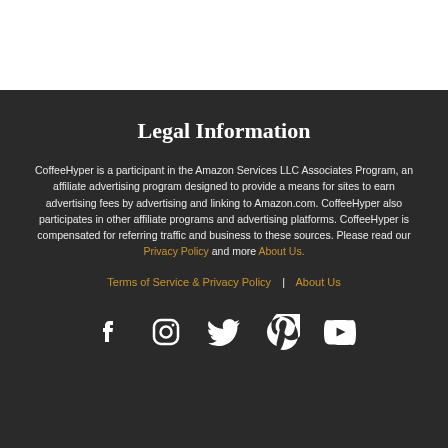Legal Information
CoffeeHyper is a participant in the Amazon Services LLC Associates Program, an affiliate advertising program designed to provide a means for sites to earn advertising fees by advertising and linking to Amazon.com. CoffeeHyper also participates in other affiliate programs and advertising platforms. CoffeeHyper is compensated for referring traffic and business to these sources. Please read our Privacy Policy and more About Us.
Terms of Service & Privacy Policy | About Us
[Figure (infographic): Social media icons: Facebook, Instagram, Twitter, Pinterest, YouTube — white icons on dark background]